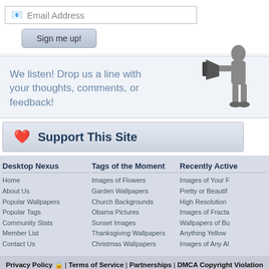[Figure (screenshot): Email address input field with envelope icon and text 'Email Address']
[Figure (screenshot): Sign me up! button with gradient styling]
We listen! Drop us a line with your thoughts, comments, or feedback!
[Figure (illustration): Black and white illustration of a man with a megaphone]
Support This Site
Desktop Nexus
Home
About Us
Popular Wallpapers
Popular Tags
Community Stats
Member List
Contact Us
Tags of the Moment
Images of Flowers
Garden Wallpapers
Church Backgrounds
Obama Pictures
Sunset Images
Thanksgiving Wallpapers
Christmas Wallpapers
Recently Active
Images of Your F
Pretty or Beautif
High Resolution
Images of Fracta
Wallpapers of Bu
Anything Yellow
Images of Any Al
Privacy Policy 🔒 | Terms of Service | Partnerships | DMCA Copyright Violation
© Desktop Nexus - All rights reserved.
Page rendered with 7 queries (and 0 cached) in 0.097 seconds from server 92.